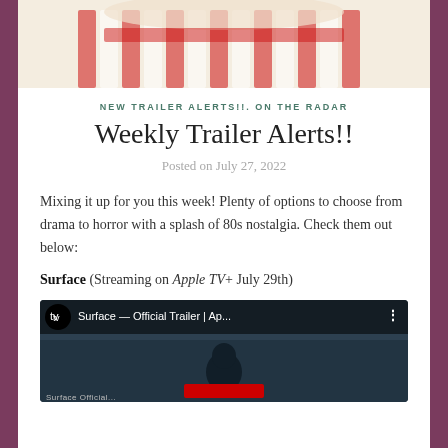[Figure (photo): Top image showing popcorn buckets with red and white stripes]
NEW TRAILER ALERTS!!. ON THE RADAR
Weekly Trailer Alerts!!
Posted on July 27, 2022
Mixing it up for you this week! Plenty of options to choose from drama to horror with a splash of 80s nostalgia. Check them out below:
Surface (Streaming on Apple TV+ July 29th)
[Figure (screenshot): Apple TV+ video thumbnail for Surface — Official Trailer | Ap...]